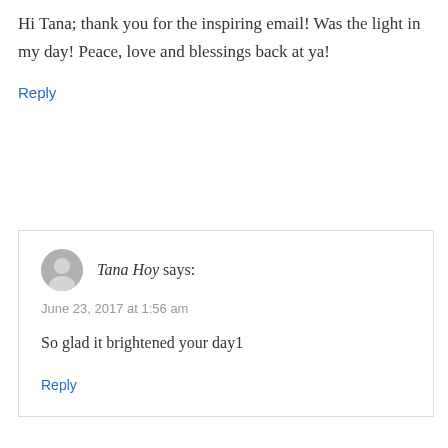Hi Tana; thank you for the inspiring email! Was the light in my day! Peace, love and blessings back at ya!
Reply
Tana Hoy says:
June 23, 2017 at 1:56 am
So glad it brightened your day1
Reply